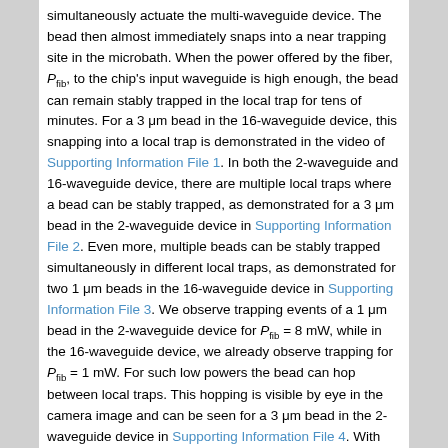simultaneously actuate the multi-waveguide device. The bead then almost immediately snaps into a near trapping site in the microbath. When the power offered by the fiber, P_fib, to the chip's input waveguide is high enough, the bead can remain stably trapped in the local trap for tens of minutes. For a 3 μm bead in the 16-waveguide device, this snapping into a local trap is demonstrated in the video of Supporting Information File 1. In both the 2-waveguide and 16-waveguide device, there are multiple local traps where a bead can be stably trapped, as demonstrated for a 3 μm bead in the 2-waveguide device in Supporting Information File 2. Even more, multiple beads can be stably trapped simultaneously in different local traps, as demonstrated for two 1 μm beads in the 16-waveguide device in Supporting Information File 3. We observe trapping events of a 1 μm bead in the 2-waveguide device for P_fib = 8 mW, while in the 16-waveguide device, we already observe trapping for P_fib = 1 mW. For such low powers the bead can hop between local traps. This hopping is visible by eye in the camera image and can be seen for a 3 μm bead in the 2-waveguide device in Supporting Information File 4. With increasing P_fib the local traps becomes stronger, resulting in a more confinement of the Brownian motion of